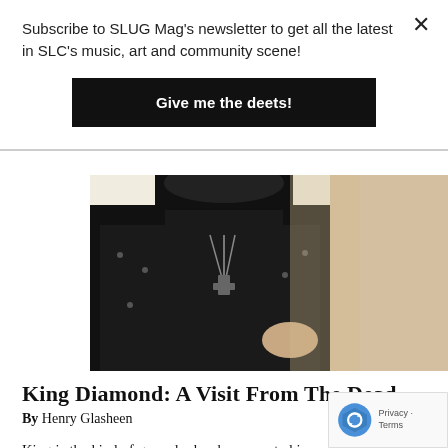SLUG Mag newsletter banner
Subscribe to SLUG Mag's newsletter to get all the latest in SLC's music, art and community scene!
Give me the deets!
[Figure (photo): Photo of King Diamond wearing a black studded jacket with metal cross necklaces, posed against a light background. Upper body visible.]
King Diamond: A Visit From The Dead
By Henry Glasheen
King is the kind of guy who has heavy meta his soul—in a way that goes far beyond the theatrics and posturing that dominate the scene